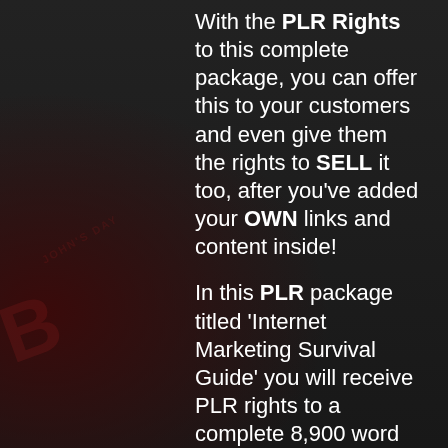With the PLR Rights to this complete package, you can offer this to your customers and even give them the rights to SELL it too, after you've added your OWN links and content inside!
In this PLR package titled 'Internet Marketing Survival Guide' you will receive PLR rights to a complete 8,900 word eBook, a professionally written ready made Sales Page